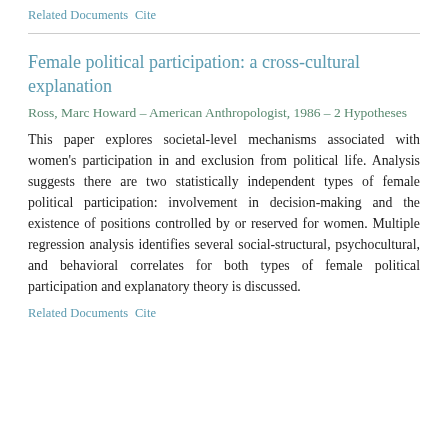Related Documents   Cite
Female political participation:  a cross-cultural explanation
Ross, Marc Howard – American Anthropologist, 1986 – 2 Hypotheses
This paper explores societal-level mechanisms associated with women's participation in and exclusion from political life. Analysis suggests there are two statistically independent types of female political participation: involvement in decision-making and the existence of positions controlled by or reserved for women. Multiple regression analysis identifies several social-structural, psychocultural, and behavioral correlates for both types of female political participation and explanatory theory is discussed.
Related Documents   Cite